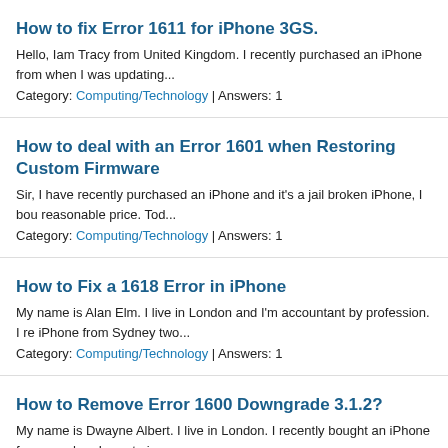How to fix Error 1611 for iPhone 3GS.
Hello, Iam Tracy from United Kingdom. I recently purchased an iPhone from when I was updating...
Category: Computing/Technology | Answers: 1
How to deal with an Error 1601 when Restoring Custom Firmware
Sir, I have recently purchased an iPhone and it's a jail broken iPhone, I bou reasonable price. Tod...
Category: Computing/Technology | Answers: 1
How to Fix a 1618 Error in iPhone
My name is Alan Elm. I live in London and I'm accountant by profession. I re iPhone from Sydney two...
Category: Computing/Technology | Answers: 1
How to Remove Error 1600 Downgrade 3.1.2?
My name is Dwayne Albert. I live in London. I recently bought an iPhone fro ago, when I was trying...
Category: Computing/Technology | Answers: 1
How to recover your iPhone when you get an unknown restore er
Hello, my name is Mathura Samuels and I'm from Jamaica. I recently purch